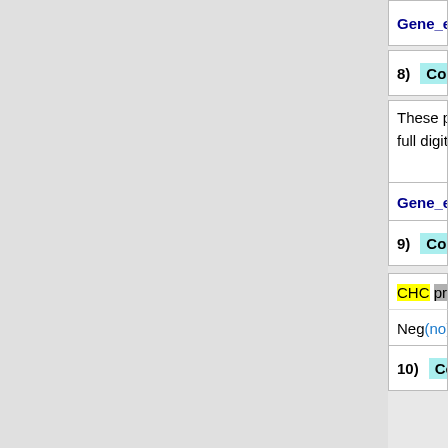Gene_expression (injection) of CHC associat…
| # | Confidence | Score | Status | Year | J |
| --- | --- | --- | --- | --- | --- |
| 8) | Confidence | 0.42 | Published | 2010 | J |
These papers have investigated safe and effica… full digital extension (?
Gene_expression (injection) of CHC associat…
| # | Confidence | Score | Status | Year | J |
| --- | --- | --- | --- | --- | --- |
| 9) | Confidence | 0.42 | Published | 2010 | J |
CHC produced no alteration in volume in the inj…
Neg (no) Gene_expression (produced) of CH…
| # | Confidence | Score | Status | Year | J |
| --- | --- | --- | --- | --- | --- |
| 10) | Confidence | 0.42 | Published | 2010 | J |
Overall, the authors concluded CHC injection to…
Gene_expression (injection) of CHC associat…
| # | Confidence | Score | Status | Year | J |
| --- | --- | --- | --- | --- | --- |
| 11) | Confidence | 0.42 | Published | 2010 | J |